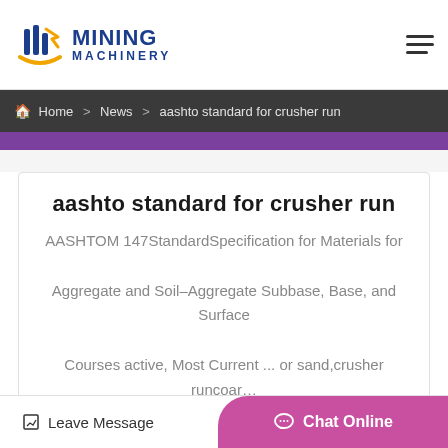[Figure (logo): Mining Machinery logo with blue vertical bars and orange swoosh arrow, text reads MINING MACHINERY]
Home > News > aashto standard for crusher run
aashto standard for crusher run
AASHTOM 147StandardSpecification for Materials for Aggregate and Soil–Aggregate Subbase, Base, and Surface Courses active, Most Current ... or sand,crusher runcoar…
Get Price
Leave Message   Chat Online